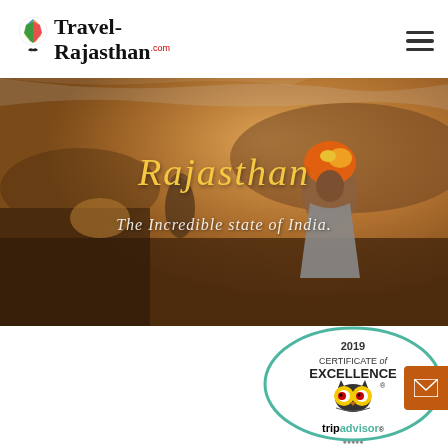[Figure (logo): Travel-Rajasthan.com logo with colorful peacock/India icon and serif text]
[Figure (photo): Hero photo of a Rajasthani man in orange turban sitting in desert landscape with other people and camels in background]
Rajasthan
The Incredible state of India.
[Figure (logo): TripAdvisor 2019 Certificate of Excellence badge with owl logo]